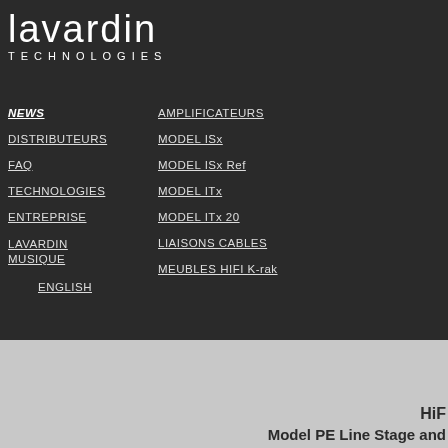lavardin TECHNOLOGIES
NEWS
DISTRIBUTEURS
FAQ
TECHNOLOGIES
ENTREPRISE
LAVARDIN MUSIQUE
ENGLISH
AMPLIFICATEURS
MODEL ISx
MODEL ISx Ref
MODEL ITx
MODEL ITx 20
LIAISONS CABLES
MEUBLES HIFI K-rak
HiF
Model PE Line Stage and